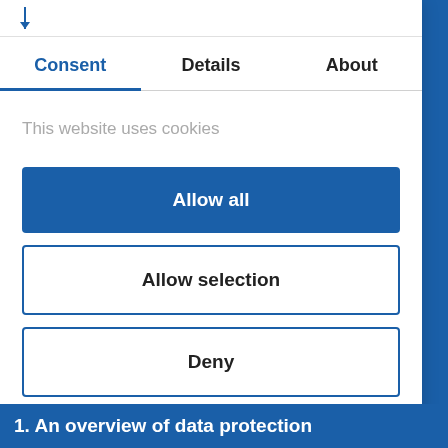Consent | Details | About
This website uses cookies
Allow all
Allow selection
Deny
Powered by Cookiebot by Usercentrics
1. An overview of data protection